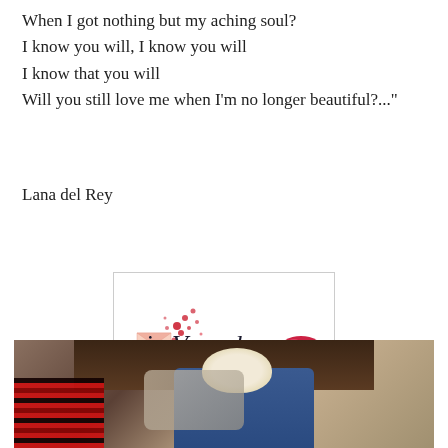When I got nothing but my aching soul?
I know you will, I know you will
I know that you will
Will you still love me when I'm no longer beautiful?..."
Lana del Rey
[Figure (logo): Sonia Verards logo with cursive script text, red hearts and envelope graphic on left, and red lips graphic on right, inside a light bordered rectangle]
[Figure (photo): Photo of a blonde woman sitting in a room with wooden furniture, red plaid fabric visible on the left, wearing a blue top with red lipstick]